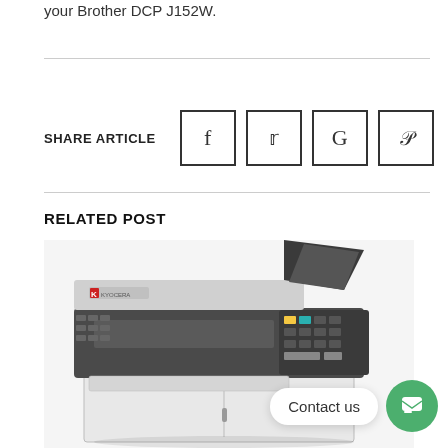your Brother DCP J152W.
SHARE ARTICLE
RELATED POST
[Figure (photo): Photo of a Kyocera multifunction printer/copier with document feeder on top, control panel in the middle, and paper tray at the bottom. Gray and black color scheme.]
Contact us